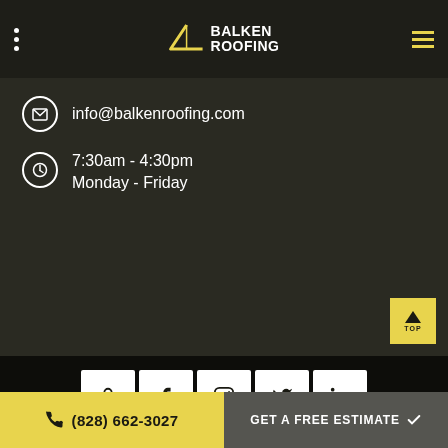Balken Roofing
info@balkenroofing.com
7:30am - 4:30pm
Monday - Friday
[Figure (other): Social media icon links: Google Business, Facebook, Instagram, Twitter, LinkedIn]
Copyright © 2022. Balken Roofing. All Rights Reserved.
(828) 662-3027
GET A FREE ESTIMATE